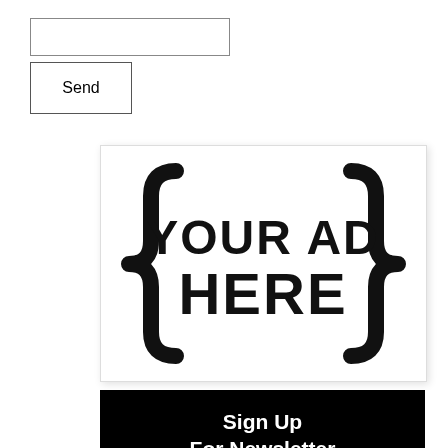[Figure (other): Empty text input box (form field)]
Send
[Figure (illustration): Advertisement placeholder image showing curly braces with text 'YOUR AD HERE' in bold black on white background]
[Figure (infographic): Black banner with white bold text reading 'Sign Up For Newsletter' and subtext 'Hottest articles on your inbox!']